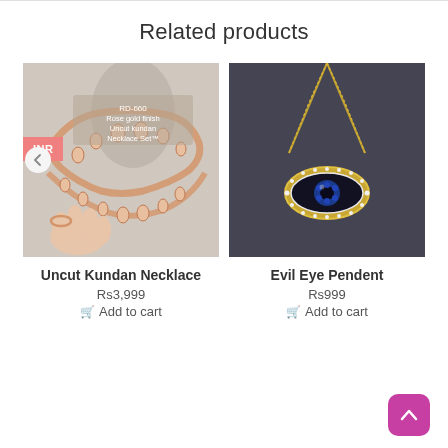Related products
[Figure (photo): Photo of a rose gold finish uncut kundan necklace set displayed on a mannequin neck form, with text overlay 'RD-660 Rose gold finish Uncut kundan Necklace Set'. An INR badge is shown on the left side. A navigation arrow is visible on the far left.]
[Figure (photo): Photo of an Evil Eye pendant necklace on a gold chain, displayed against a dark grey/slate background. The pendant features an eye shape with blue stones and white crystal border.]
Uncut Kundan Necklace
Rs3,999
Add to cart
Evil Eye Pendent
Rs999
Add to cart